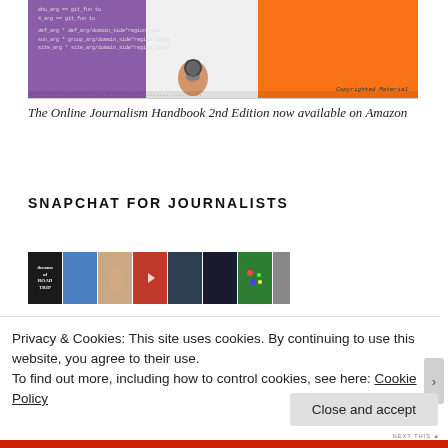[Figure (illustration): Book cover image for The Online Journalism Handbook 2nd Edition with purple, grey and orange sections, code text on left, and a wrist with watch on right. Text reads 'Copyrighted Material'.]
The Online Journalism Handbook 2nd Edition now available on Amazon
SNAPCHAT FOR JOURNALISTS
[Figure (photo): A strip of Snapchat-style photos showing various scenes including a road trip sign, blue mountain, hand, red lights, screen, dark room, and colorful pattern.]
Privacy & Cookies: This site uses cookies. By continuing to use this website, you agree to their use.
To find out more, including how to control cookies, see here: Cookie Policy
Close and accept